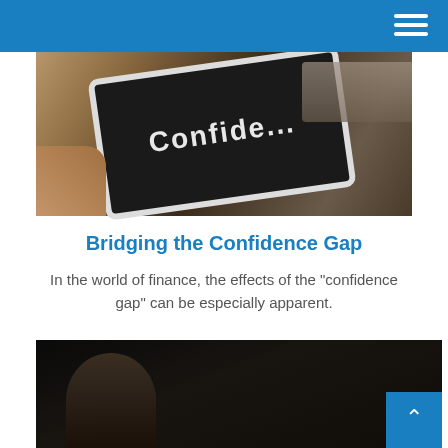[Figure (photo): Person holding a tablet device showing the word 'Confidence' on its screen, with papers visible in the background]
Bridging the Confidence Gap
In the world of finance, the effects of the "confidence gap" can be especially apparent.
[Figure (photo): Young man with headphones sitting in front of a laptop in a dark setting]